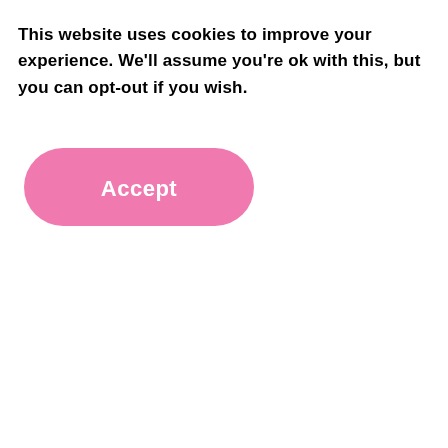This website uses cookies to improve your experience. We'll assume you're ok with this, but you can opt-out if you wish.
[Figure (other): Pink rounded rectangle button labeled 'Accept']
[Figure (other): Two small grey dots (loading indicator) near the center of the page]